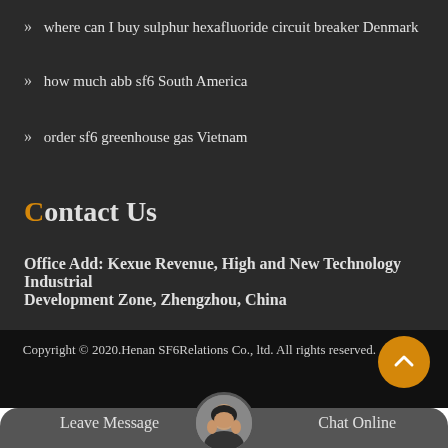» where can I buy sulphur hexafluoride circuit breaker Denmark
» how much abb sf6 South America
» order sf6 greenhouse gas Vietnam
Contact Us
Office Add: Kexue Revenue, High and New Technology Industrial Development Zone, Zhengzhou, China
Copyright © 2020.Henan SF6Relations Co., ltd. All rights reserved. Sitemap
Leave Message
Chat Online